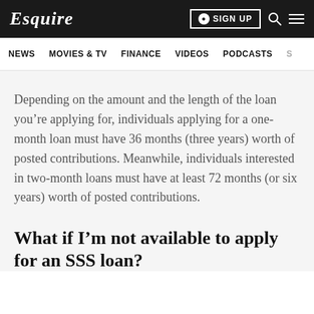Esquire | NEWS  MOVIES & TV  FINANCE  VIDEOS  PODCASTS
Depending on the amount and the length of the loan you’re applying for, individuals applying for a one-month loan must have 36 months (three years) worth of posted contributions. Meanwhile, individuals interested in two-month loans must have at least 72 months (or six years) worth of posted contributions.
What if I’m not available to apply for an SSS loan?